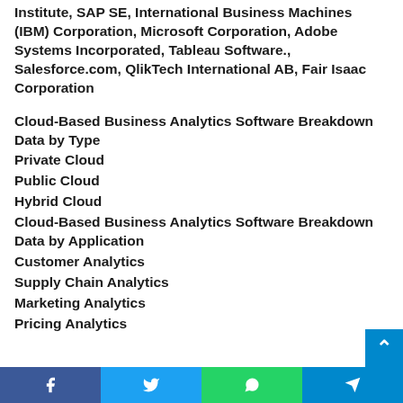Institute, SAP SE, International Business Machines (IBM) Corporation, Microsoft Corporation, Adobe Systems Incorporated, Tableau Software., Salesforce.com, QlikTech International AB, Fair Isaac Corporation
Cloud-Based Business Analytics Software Breakdown Data by Type
Private Cloud
Public Cloud
Hybrid Cloud
Cloud-Based Business Analytics Software Breakdown Data by Application
Customer Analytics
Supply Chain Analytics
Marketing Analytics
Pricing Analytics